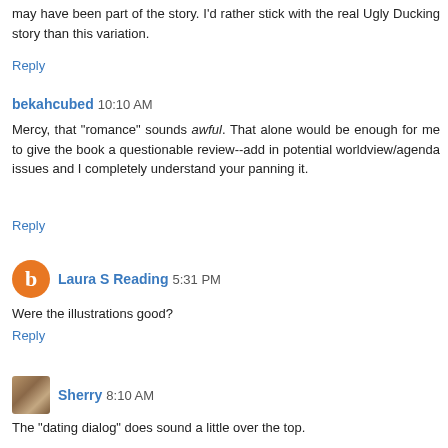may have been part of the story. I'd rather stick with the real Ugly Ducking story than this variation.
Reply
bekahcubed 10:10 AM
Mercy, that "romance" sounds awful. That alone would be enough for me to give the book a questionable review--add in potential worldview/agenda issues and I completely understand your panning it.
Reply
Laura S Reading 5:31 PM
Were the illustrations good?
Reply
Sherry 8:10 AM
The "dating dialog" does sound a little over the top.